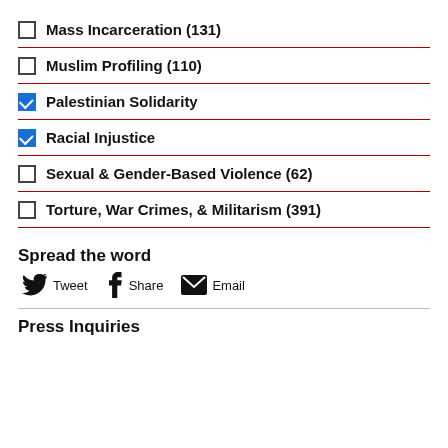Mass Incarceration (131)
Muslim Profiling (110)
Palestinian Solidarity
Racial Injustice
Sexual & Gender-Based Violence (62)
Torture, War Crimes, & Militarism (391)
Spread the word
Tweet  Share  Email
Press Inquiries